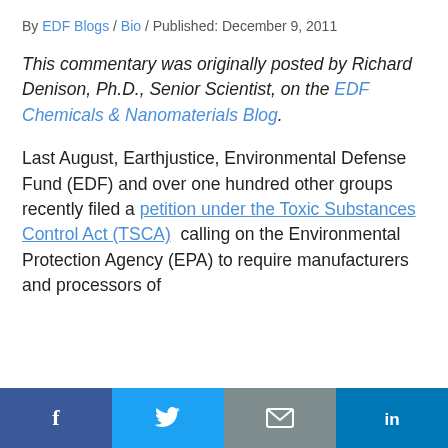By EDF Blogs / Bio / Published: December 9, 2011
This commentary was originally posted by Richard Denison, Ph.D., Senior Scientist, on the EDF Chemicals & Nanomaterials Blog.
Last August, Earthjustice, Environmental Defense Fund (EDF) and over one hundred other groups recently filed a petition under the Toxic Substances Control Act (TSCA) calling on the Environmental Protection Agency (EPA) to require manufacturers and processors of